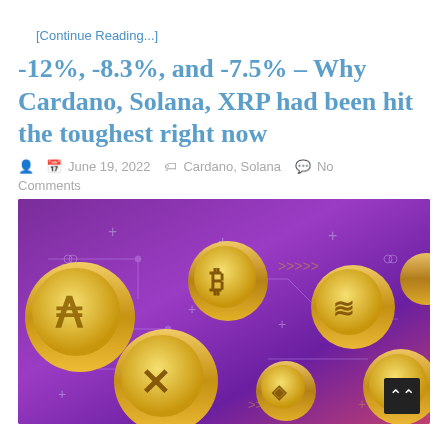[Continue Reading...]
-12%, -8.3%, and -7.5% – Why Cardano, Solana, XRP had been hit the toughest right now
June 19, 2022   Cardano, Solana   No Comments
[Figure (illustration): Gold cryptocurrency coins (Bitcoin, Cardano, Solana, XRP and others) floating on a purple/violet gradient background with circuit board patterns, arrows, plus signs and decorative elements]